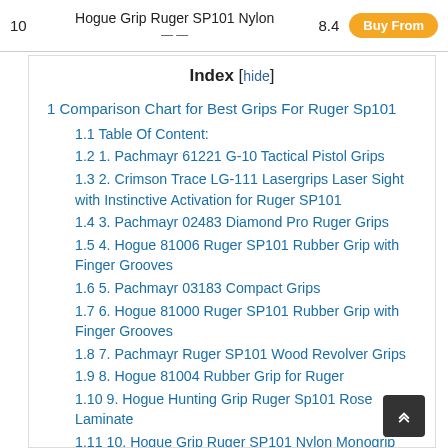| # | Product | Score |  |
| --- | --- | --- | --- |
| 10 | Hogue Grip Ruger SP101 Nylon | 8.4 | Buy From |
Index [hide]
1 Comparison Chart for Best Grips For Ruger Sp101
1.1 Table Of Content:
1.2 1. Pachmayr 61221 G-10 Tactical Pistol Grips
1.3 2. Crimson Trace LG-111 Lasergrips Laser Sight with Instinctive Activation for Ruger SP101
1.4 3. Pachmayr 02483 Diamond Pro Ruger Grips
1.5 4. Hogue 81006 Ruger SP101 Rubber Grip with Finger Grooves
1.6 5. Pachmayr 03183 Compact Grips
1.7 6. Hogue 81000 Ruger SP101 Rubber Grip with Finger Grooves
1.8 7. Pachmayr Ruger SP101 Wood Revolver Grips
1.9 8. Hogue 81004 Rubber Grip for Ruger
1.10 9. Hogue Hunting Grip Ruger Sp101 Rose Laminate
1.11 10. Hogue Grip Ruger SP101 Nylon Monogrip